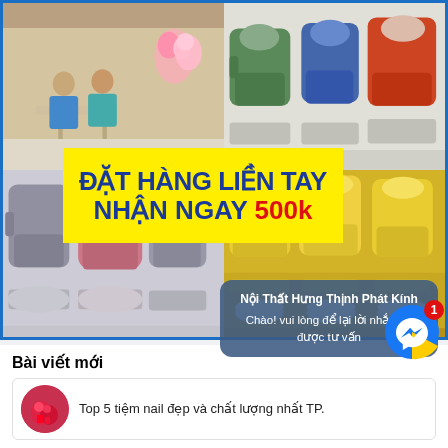[Figure (photo): Collage of 4 photos showing beauty salon/nail salon interior with pedicure chairs. Yellow promotional banner overlay reading 'ĐẶT HÀNG LIỀN TAY NHẬN NGAY 500k'. Blue border frame.]
Nội Thất Hưng Thịnh Phát Kính
Chào! vui lòng để lại lời nhắn để được tư vấn
Bài viết mới
Top 5 tiệm nail đẹp và chất lượng nhất TP.